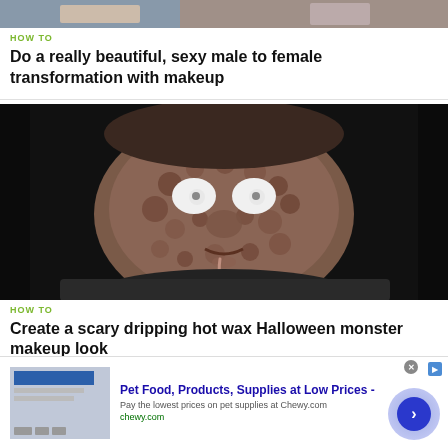[Figure (photo): Top portion of a thumbnail image partially cropped showing two people with makeup, background is partly visible]
HOW TO
Do a really beautiful, sexy male to female transformation with makeup
[Figure (photo): Close-up photo of a person wearing scary Halloween monster makeup - textured skin effect resembling melted or diseased flesh with white eyes and dripping wax]
HOW TO
Create a scary dripping hot wax Halloween monster makeup look
[Figure (screenshot): Advertisement for Chewy.com - Pet Food, Products, Supplies at Low Prices. Shows thumbnail image of Chewy website, ad text and a blue circular arrow button. Close button visible.]